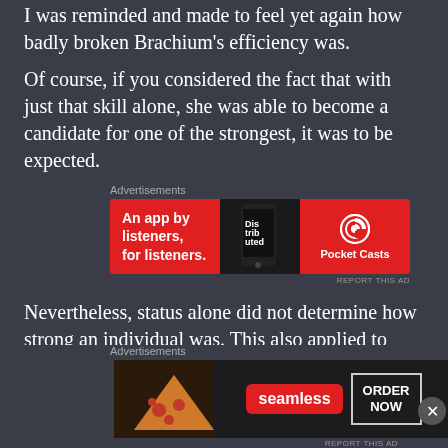I was reminded and made to feel yet again how badly broken Brachium’s efficiency was.
Of course, if you considered the fact that with just that skill alone, she was able to become a candidate for one of the strongest, it was to be expected.
[Figure (screenshot): Advertisement banner for Pocket Casts: 'An app by listeners, for listeners.' with Pocket Casts logo on red background with phone image.]
Nevertheless, status alone did not determine how strong an individual was. This also applied to Scorpius.
As her true strength lay in her poisonous attacks,
[Figure (screenshot): Advertisement banner for Seamless food delivery with pizza image, seamless logo, and ORDER NOW button.]